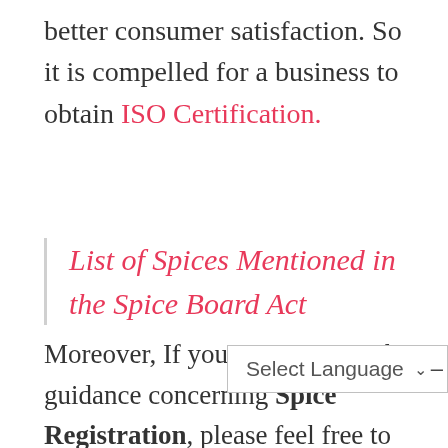better consumer satisfaction. So it is compelled for a business to obtain ISO Certification.
List of Spices Mentioned in the Spice Board Act
Moreover, If you require any other guidance concerning Spice Registration, please feel free to contact our bus[iness experts at +91-8069068-069]